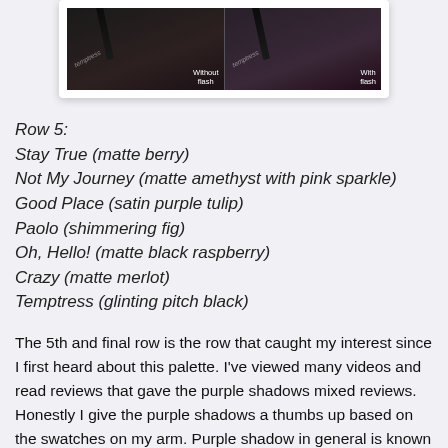[Figure (photo): Two side-by-side close-up photos of mascara application on eyelashes — left labeled 'Without flash', right labeled 'With flash', both with a watermark reading 'temptress']
Row 5:
Stay True (matte berry)
Not My Journey (matte amethyst with pink sparkle)
Good Place (satin purple tulip)
Paolo (shimmering fig)
Oh, Hello! (matte black raspberry)
Crazy (matte merlot)
Temptress (glinting pitch black)
The 5th and final row is the row that caught my interest since I first heard about this palette. I've viewed many videos and read reviews that gave the purple shadows mixed reviews. Honestly I give the purple shadows a thumbs up based on the swatches on my arm. Purple shadow in general is known for being a difficult shade to formulate. I think Jaclyn Hill did a pretty good job with the formula. To test out one of the purples I used Not My Journey. The shadow blends well and